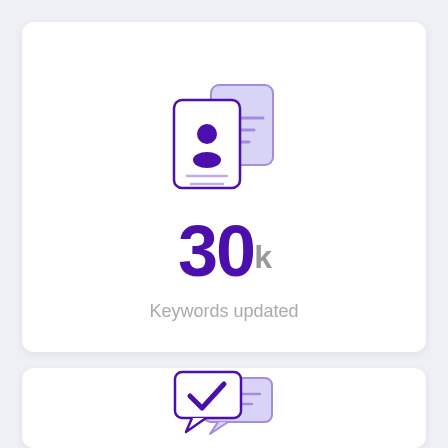[Figure (illustration): Two overlapping ID card / profile document icons in purple and light purple, with a person silhouette and horizontal lines.]
30k
Keywords updated
[Figure (illustration): Two overlapping speech bubble / chat icons, the front one with a purple checkmark, the back one with horizontal lines, in purple and light purple.]